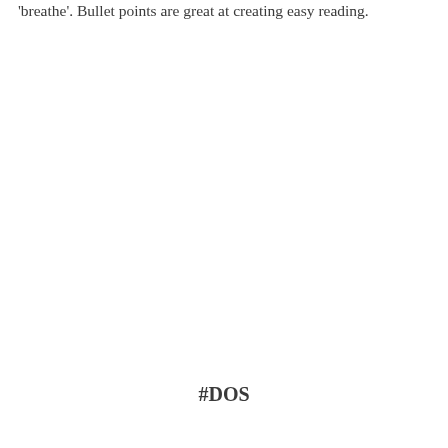'breathe'. Bullet points are great at creating easy reading.
#DOS